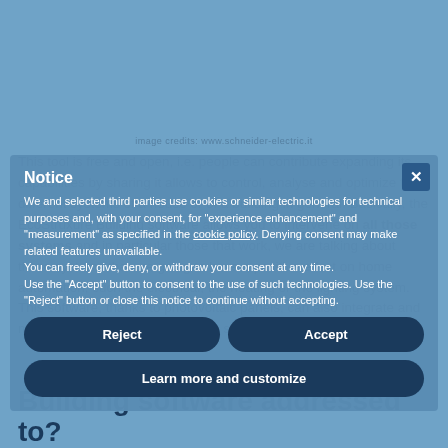image credits: www.schneider-electric.it
This tool is free and open, i.e. people can contribute expanding its capabilities by sharing it allows to control, analyse and optimize the different systems of a house or of a building in general. Basically, the EcoStruxure Building software allows you to intervene on all those systems and in particular those that work, we are talking about those systems that are going to have a positive effect on home automation, such the electrical, the heating or the lighting system. This software, thanks to photovoltaic panels, can also integrate and make electrical energy production systems more efficient.
Notice
We and selected third parties use cookies or similar technologies for technical purposes and, with your consent, for "experience enhancement" and "measurement" as specified in the cookie policy. Denying consent may make related features unavailable.
You can freely give, deny, or withdraw your consent at any time.
Use the "Accept" button to consent to the use of such technologies. Use the "Reject" button or close this notice to continue without accepting.
Reject
Accept
Learn more and customize
Building software addressed to?